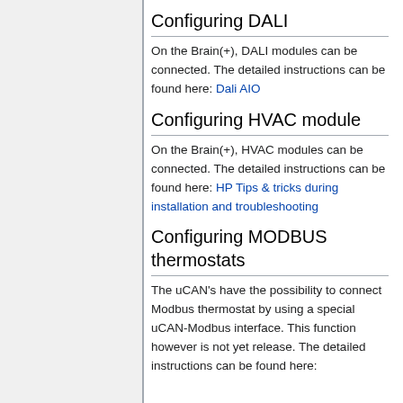Configuring DALI
On the Brain(+), DALI modules can be connected. The detailed instructions can be found here: Dali AIO
Configuring HVAC module
On the Brain(+), HVAC modules can be connected. The detailed instructions can be found here: HP Tips & tricks during installation and troubleshooting
Configuring MODBUS thermostats
The uCAN's have the possibility to connect Modbus thermostat by using a special uCAN-Modbus interface. This function however is not yet release. The detailed instructions can be found here: